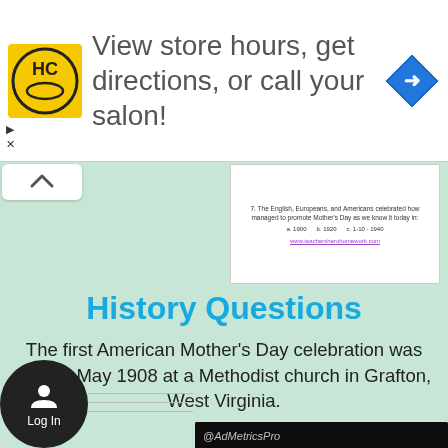[Figure (screenshot): Advertisement banner for HC salon with logo, text 'View store hours, get directions, or call your salon!' and a blue navigation arrow icon]
[Figure (screenshot): Small preview thumbnail showing a quiz question about Mother's Day with multiple choice options and a link]
History Questions
The first American Mother's Day celebration was held in May 1908 at a Methodist church in Grafton, West Virginia.
[Figure (screenshot): Video overlay showing animated character with @AdMetricsPro watermark and a mute button]
[Figure (screenshot): Log In button with user icon at bottom left]